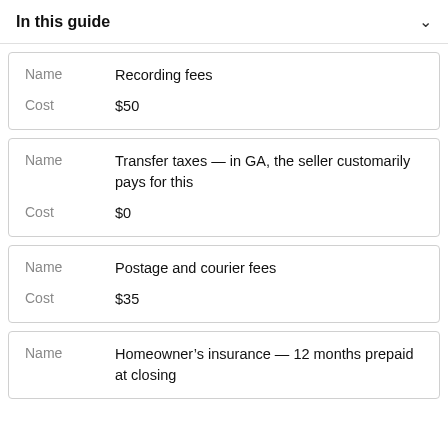In this guide
| Label | Value |
| --- | --- |
| Name | Recording fees |
| Cost | $50 |
| Label | Value |
| --- | --- |
| Name | Transfer taxes — in GA, the seller customarily pays for this |
| Cost | $0 |
| Label | Value |
| --- | --- |
| Name | Postage and courier fees |
| Cost | $35 |
| Label | Value |
| --- | --- |
| Name | Homeowner's insurance — 12 months prepaid at closing |